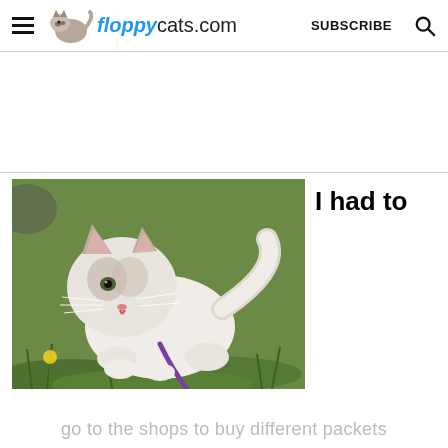floppycats.com  SUBSCRIBE
[Figure (photo): A fluffy white Ragdoll kitten with dark markings on its face and ears, walking on grass on a purple leash, outdoors with dandelions visible]
I had to
go to the shops to buy different packets